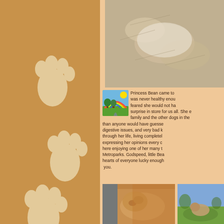[Figure (illustration): Three paw print illustrations in light tan/cream color on a darker brown background, arranged diagonally]
[Figure (photo): Photo of a light-colored dog lying on dry leaves or mulch, viewed from above]
Princess Bean came to... was never healthy enou... feared she would not ha... surprise in store for us all. She e... family and the other dogs in the... than anyone would have guesse... digestive issues, and very bad k... through her life, living completel... expressing her opinions every c... here enjoying one of her many t... Metroparks. Godspeed, little Bea... hearts of everyone lucky enough... you.
[Figure (photo): Photo of a golden/tan dog resting indoors]
[Figure (photo): Photo of a dog outdoors on grass]